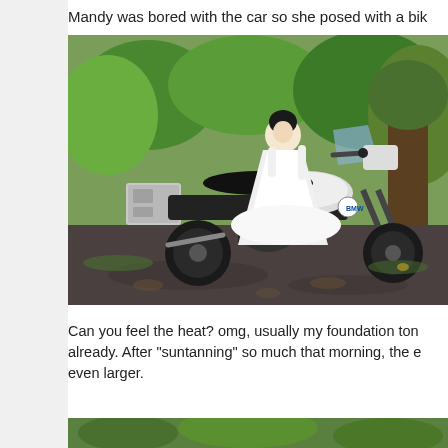Mandy was bored with the car so she posed with a bik
[Figure (photo): Woman in a white wedding dress sitting on a BMW motorcycle (BMW GS adventure bike with panniers) outdoors in a green park/garden setting with trees in the background.]
Can you feel the heat? omg, usually my foundation ton already. After "suntanning" so much that morning, the e even larger.
[Figure (photo): Partial photo strip at the bottom of the page showing green outdoor scenery.]